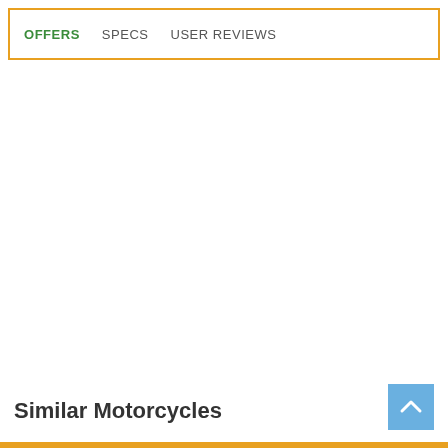OFFERS  SPECS  USER REVIEWS
Similar Motorcycles